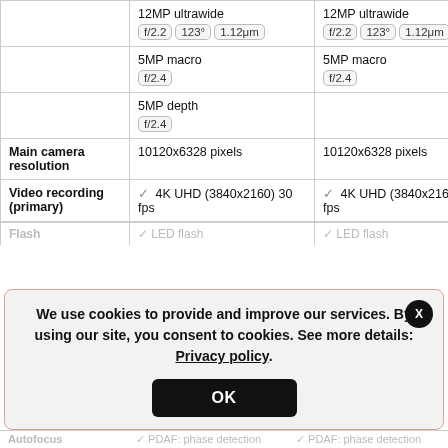|  | Device 1 | Device 2 |
| --- | --- | --- |
|  | 12MP ultrawide
f/2.2  123°  1.12μm | 12MP ultrawide
f/2.2  123°  1.12μm |
|  | 5MP macro
f/2.4 | 5MP macro
f/2.4 |
|  | 5MP depth
f/2.4 |  |
| Main camera resolution | 10120x6328 pixels | 10120x6328 pixels |
| Video recording (primary) | ✓ 4K UHD (3840x2160) 30 fps | ✓ 4K UHD (3840x2160) 30 fps |
| Flash | ✓ LED flash | ✓ LED flash |
| Autofocus | PDAF: phase detection | PDAF: phase detection |
We use cookies to provide and improve our services. By using our site, you consent to cookies. See more details: Privacy policy.